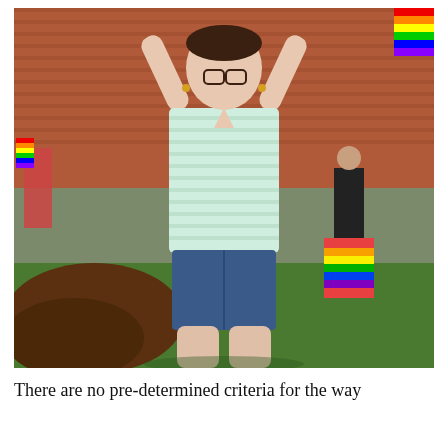[Figure (photo): A person standing outdoors with arms raised, wearing a light blue/white striped top and denim shorts, with glasses. Background shows a brick building, green grass, mulch, and other people carrying rainbow and pride flags in bright sunlight.]
There are no pre-determined criteria for the way